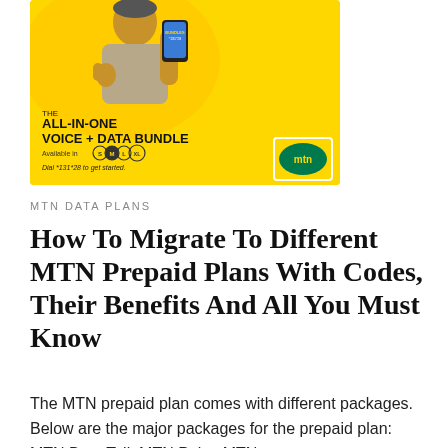[Figure (illustration): MTN advertisement banner with yellow background showing a man holding a phone with thumbs up, text reading 'THE ALL-IN-ONE VOICE + DATA BUNDLE', available in S, M, L, XL sizes, dial *131*2# to get started, MTN logo in green oval]
MTN DATA PLANS
How To Migrate To Different MTN Prepaid Plans With Codes, Their Benefits And All You Must Know
The MTN prepaid plan comes with different packages. Below are the major packages for the prepaid plan: MTN Beta Talk MTN Pulse MTN